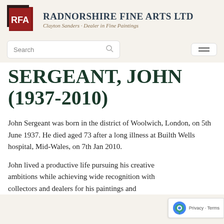Radnorshire Fine Arts Ltd — Clayton Sanders · Dealer in Fine Paintings
SERGEANT, JOHN (1937-2010)
John Sergeant was born in the district of Woolwich, London, on 5th June 1937. He died aged 73 after a long illness at Builth Wells hospital, Mid-Wales, on 7th Jan 2010.
John lived a productive life pursuing his creative ambitions while achieving wide recognition with collectors and dealers for his paintings and